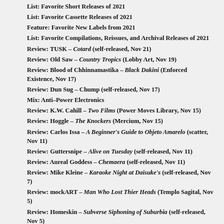List: Favorite Short Releases of 2021
List: Favorite Cassette Releases of 2021
Feature: Favorite New Labels from 2021
List: Favorite Compilations, Reissues, and Archival Releases of 2021
Review: TUSK – Cotard (self-released, Nov 21)
Review: Old Saw – Country Tropics (Lobby Art, Nov 19)
Review: Blood of Chhinnamastika – Black Dakini (Enforced Existence, Nov 17)
Review: Dun Sug – Chump (self-released, Nov 17)
Mix: Anti–Power Electronics
Review: K.W. Cahill – Two Films (Power Moves Library, Nov 15)
Review: Hoggle – The Knockers (Mercium, Nov 15)
Review: Carlos Issa – A Beginner's Guide to Objeto Amarelo (scatter, Nov 11)
Review: Guttersnipe – Alive on Tuesday (self-released, Nov 11)
Review: Aureal Goddess – Chemaera (self-released, Nov 11)
Review: Mike Kleine – Karaoke Night at Daisuke's (self-released, Nov 7)
Review: mockART – Man Who Lost Thier Heads (Templo Sagital, Nov 5)
Review: Homeskin – Subverse Siphoning of Suburbia (self-released, Nov 5)